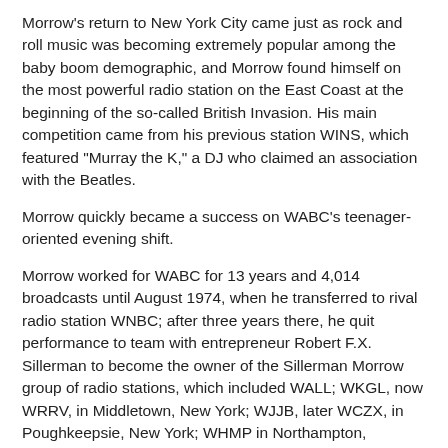Morrow's return to New York City came just as rock and roll music was becoming extremely popular among the baby boom demographic, and Morrow found himself on the most powerful radio station on the East Coast at the beginning of the so-called British Invasion. His main competition came from his previous station WINS, which featured "Murray the K," a DJ who claimed an association with the Beatles.
Morrow quickly became a success on WABC's teenager-oriented evening shift.
Morrow worked for WABC for 13 years and 4,014 broadcasts until August 1974, when he transferred to rival radio station WNBC; after three years there, he quit performance to team with entrepreneur Robert F.X. Sillerman to become the owner of the Sillerman Morrow group of radio stations, which included WALL; WKGL, now WRRV, in Middletown, New York; WJJB, later WCZX, in Poughkeepsie, New York; WHMP in Northampton, Massachusetts; WOCB in West Yarmouth, Massachusetts; WRAN (now dark) New Jersey 1510 in Randolph, New Jersey; and television station WATL Atlanta. The group later purchased WPLR in New Haven,